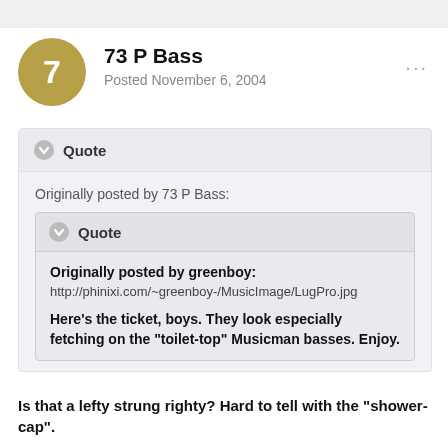73 P Bass
Posted November 6, 2004
Quote
Originally posted by 73 P Bass:
Quote
Originally posted by greenboy:
http://phinixi.com/~greenboy-/MusicImage/LugPro.jpg
Here's the ticket, boys. They look especially fetching on the "toilet-top" Musicman basses. Enjoy.
Is that a lefty strung righty? Hard to tell with the "shower-cap".